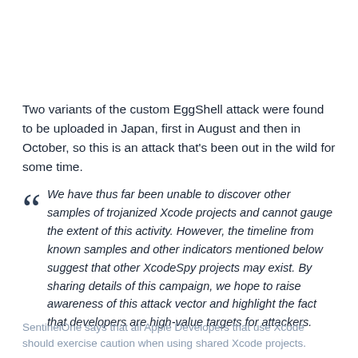Two variants of the custom EggShell attack were found to be uploaded in Japan, first in August and then in October, so this is an attack that's been out in the wild for some time.
We have thus far been unable to discover other samples of trojanized Xcode projects and cannot gauge the extent of this activity. However, the timeline from known samples and other indicators mentioned below suggest that other XcodeSpy projects may exist. By sharing details of this campaign, we hope to raise awareness of this attack vector and highlight the fact that developers are high-value targets for attackers.
SentinelOne says that all Apple Developers that use Xcode should exercise caution when using shared Xcode projects.